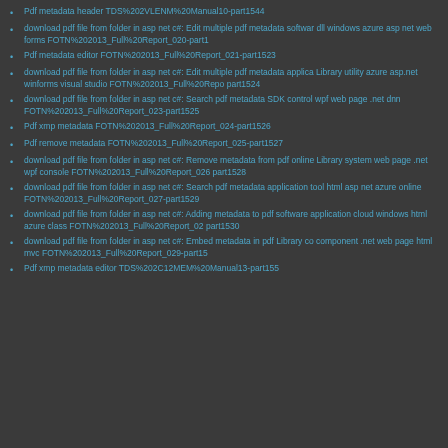Pdf metadata header TDS%202VLENM%20Manual10-part1544
download pdf file from folder in asp net c#: Edit multiple pdf metadata software dll windows azure asp net web forms FOTN%202013_Full%20Report_020-part1
Pdf metadata editor FOTN%202013_Full%20Report_021-part1523
download pdf file from folder in asp net c#: Edit multiple pdf metadata application Library utility azure asp.net winforms visual studio FOTN%202013_Full%20Repo part1524
download pdf file from folder in asp net c#: Search pdf metadata SDK control wpf web page .net dnn FOTN%202013_Full%20Report_023-part1525
Pdf xmp metadata FOTN%202013_Full%20Report_024-part1526
Pdf remove metadata FOTN%202013_Full%20Report_025-part1527
download pdf file from folder in asp net c#: Remove metadata from pdf online Library system web page .net wpf console FOTN%202013_Full%20Report_026 part1528
download pdf file from folder in asp net c#: Search pdf metadata application tool html asp net azure online FOTN%202013_Full%20Report_027-part1529
download pdf file from folder in asp net c#: Adding metadata to pdf software application cloud windows html azure class FOTN%202013_Full%20Report_02 part1530
download pdf file from folder in asp net c#: Embed metadata in pdf Library component .net web page html mvc FOTN%202013_Full%20Report_029-part15
Pdf xmp metadata editor TDS%202C1MEMR%20Manual13-part155